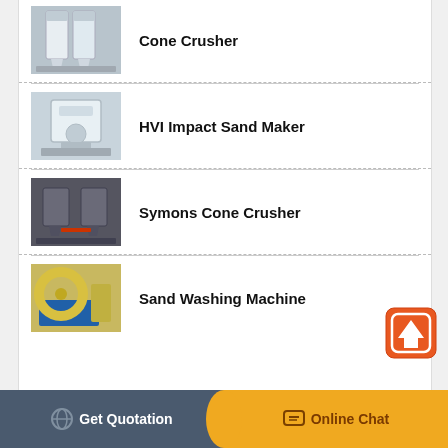[Figure (photo): Cone Crusher product photo showing white industrial crushing machines in a factory]
Cone Crusher
[Figure (photo): HVI Impact Sand Maker product photo showing white industrial machine in factory]
HVI Impact Sand Maker
[Figure (photo): Symons Cone Crusher product photo showing dark industrial crushing machines]
Symons Cone Crusher
[Figure (photo): Sand Washing Machine product photo showing yellow and blue industrial washing equipment]
Sand Washing Machine
[Figure (other): Orange back-to-top button with upward arrow icon]
Get Quotation   Online Chat